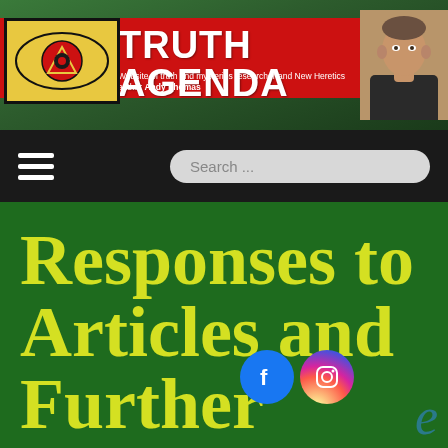TRUTH AGENDA — Website of truth and mysteries researcher and New Heretics author Andy Thomas
[Figure (logo): Eye logo with yellow background, red and black concentric eye design with triangle/illuminati symbol inside]
[Figure (photo): Headshot of Andy Thomas, middle-aged man in dark shirt]
Search ...
Responses to Articles and Further Thoughts on the
[Figure (logo): Facebook circular icon (blue with white f)]
[Figure (logo): Instagram circular icon (gradient purple/orange with camera icon)]